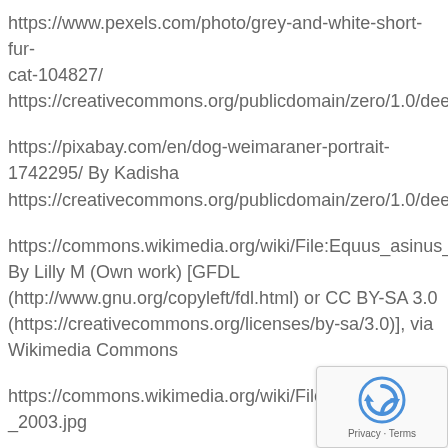https://www.pexels.com/photo/grey-and-white-short-fur-cat-104827/
https://creativecommons.org/publicdomain/zero/1.0/deed.en
https://pixabay.com/en/dog-weimaraner-portrait-1742295/ By Kadisha
https://creativecommons.org/publicdomain/zero/1.0/deed.en
https://commons.wikimedia.org/wiki/File:Equus_asinus_Kadzi... By Lilly M (Own work) [GFDL (http://www.gnu.org/copyleft/fdl.html) or CC BY-SA 3.0 (https://creativecommons.org/licenses/by-sa/3.0)], via Wikimedia Commons
https://commons.wikimedia.org/wiki/File:Tursiops_aduncus,_F_2003.jpg
https://commons.wikimedia.org/wiki/File:Male_silve... By Aude Steiner (Self-photographed) [CC BY-SA 1.0...